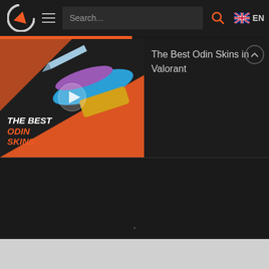[Figure (screenshot): Gaming website navigation bar with logo (G arrow icon), hamburger menu, search bar with 'Search...' placeholder, search icon, UK flag and EN language selector]
[Figure (screenshot): Video thumbnail for 'The Best Odin Skins in Valorant' showing colorful weapon skins on orange/dark background with THE BEST ODIN SKINS text and play button]
The Best Odin Skins in Valorant